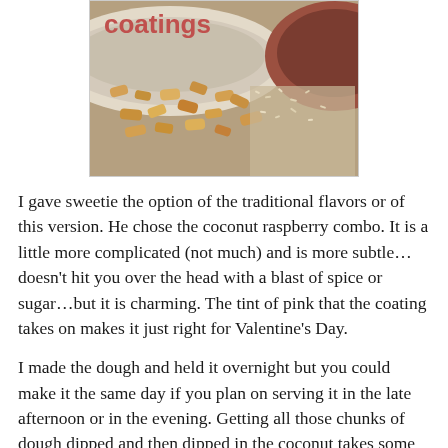[Figure (photo): Close-up photo of chopped nuts (almonds) and what appears to be shredded coconut in bowls, with text 'coatings' overlaid in pink/red font at the top left of the image.]
I gave sweetie the option of the traditional flavors or of this version. He chose the coconut raspberry combo. It is a little more complicated (not much) and is more subtle…doesn't hit you over the head with a blast of spice or sugar…but it is charming. The tint of pink that the coating takes on makes it just right for Valentine's Day.
I made the dough and held it overnight but you could make it the same day if you plan on serving it in the late afternoon or in the evening. Getting all those chunks of dough dipped and then dipped in the coconut takes some time. My dough also took longer than average to rise because it is stormy here and chilly…and perhaps because I used all sour dough